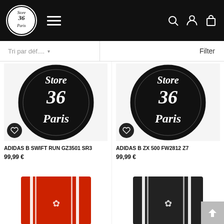Store 36 Paris
Tri par déf.... ▾   Filter
[Figure (photo): Circular Store 36 Paris logo product image for ADIDAS B SWIFT RUN GZ3501 SR3]
ADIDAS B SWIFT RUN GZ3501 SR3
99,99 €
[Figure (photo): Circular Store 36 Paris logo product image for ADIDAS B ZX 500 FW2812 Z7]
ADIDAS B ZX 500 FW2812 Z7
99,99 €
[Figure (photo): Red Adidas tracksuit pants with white stripes and trefoil logo]
[Figure (photo): Black Adidas tracksuit pants with white stripes and trefoil logo]